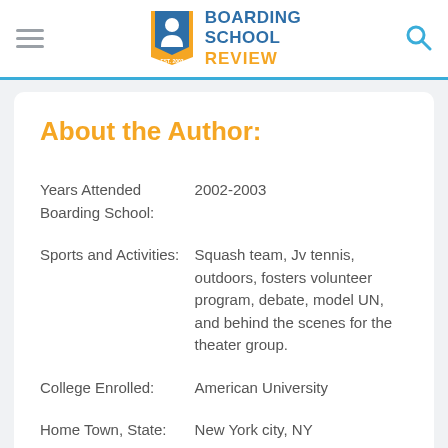Boarding School Review EST. 2003
About the Author:
|  |  |
| --- | --- |
| Years Attended Boarding School: | 2002-2003 |
| Sports and Activities: | Squash team, Jv tennis, outdoors, fosters volunteer program, debate, model UN, and behind the scenes for the theater group. |
| College Enrolled: | American University |
| Home Town, State: | New York city, NY |